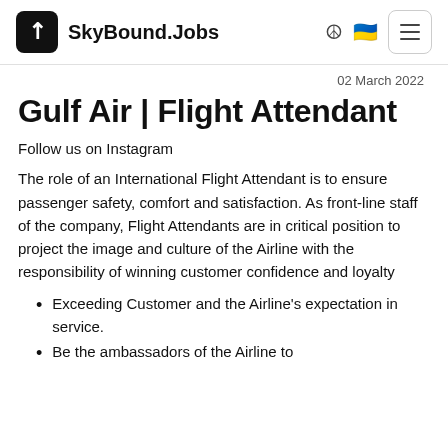SkyBound.Jobs
02 March 2022
Gulf Air | Flight Attendant
Follow us on Instagram
The role of an International Flight Attendant is to ensure passenger safety, comfort and satisfaction. As front-line staff of the company, Flight Attendants are in critical position to project the image and culture of the Airline with the responsibility of winning customer confidence and loyalty
Exceeding Customer and the Airline's expectation in service.
Be the ambassadors of the Airline to